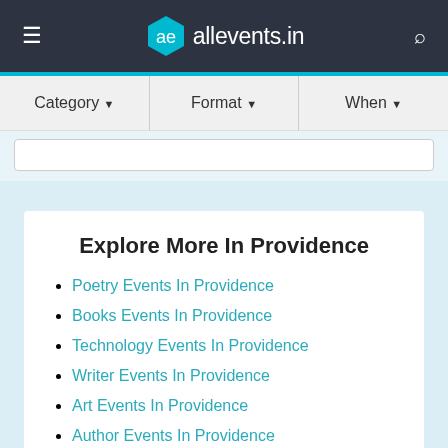allevents.in
Category ▾   Format ▾   When ▾
Explore More In Providence
Poetry Events In Providence
Books Events In Providence
Technology Events In Providence
Writer Events In Providence
Art Events In Providence
Author Events In Providence